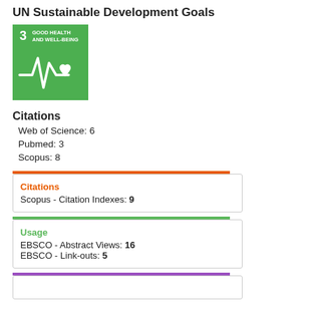UN Sustainable Development Goals
[Figure (logo): SDG Goal 3 icon - Good Health and Well-Being, green background with heartbeat and heart symbol]
Citations
Web of Science: 6
Pubmed: 3
Scopus: 8
Citations
Scopus - Citation Indexes: 9
Usage
EBSCO - Abstract Views: 16
EBSCO - Link-outs: 5